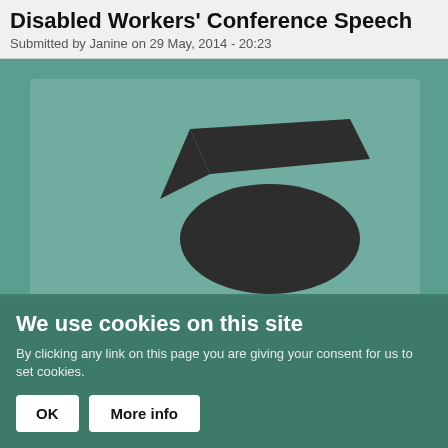Disabled Workers' Conference Speech
Submitted by Janine on 29 May, 2014 - 20:23
[Figure (logo): RMT London Calling logo with a hand holding a pen/pencil against a teal background]
We use cookies on this site
By clicking any link on this page you are giving your consent for us to set cookies.
OK  More info